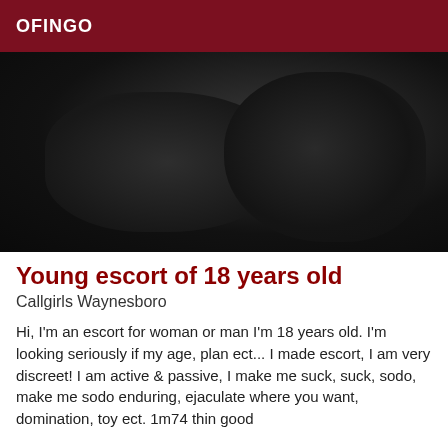OFINGO
[Figure (photo): Dark, nearly black photograph showing obscured silhouettes or body forms against a very dark background]
Young escort of 18 years old
Callgirls Waynesboro
Hi, I'm an escort for woman or man I'm 18 years old. I'm looking seriously if my age, plan ect... I made escort, I am very discreet! I am active & passive, I make me suck, suck, sodo, make me sodo enduring, ejaculate where you want, domination, toy ect. 1m74 thin good